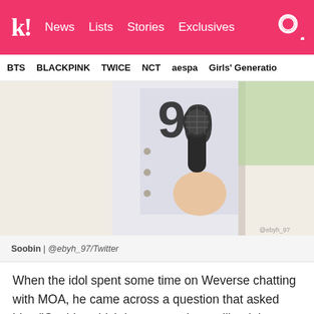k! News Lists Stories Exclusives
BTS BLACKPINK TWICE NCT aespa Girls' Generation
[Figure (photo): Close-up photo of Soobin holding a black microphone, wearing a white outfit, with blurred green background. Credit: @ebyh_97/Twitter]
Soobin | @ebyh_97/Twitter
When the idol spent some time on Weverse chatting with MOA, he came across a question that asked him, “Soobin, which boy group do you like right now?” While there are many talented groups to choose from, only one has